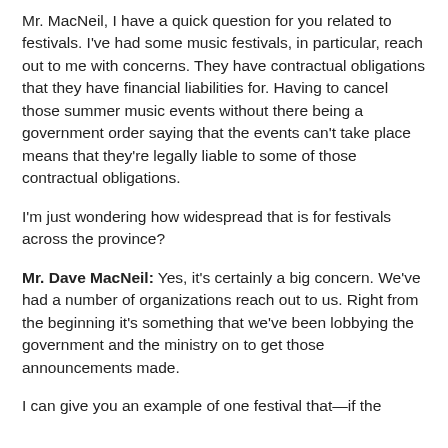Mr. MacNeil, I have a quick question for you related to festivals. I've had some music festivals, in particular, reach out to me with concerns. They have contractual obligations that they have financial liabilities for. Having to cancel those summer music events without there being a government order saying that the events can't take place means that they're legally liable to some of those contractual obligations.
I'm just wondering how widespread that is for festivals across the province?
Mr. Dave MacNeil: Yes, it's certainly a big concern. We've had a number of organizations reach out to us. Right from the beginning it's something that we've been lobbying the government and the ministry on to get those announcements made.
I can give you an example of one festival that—if the